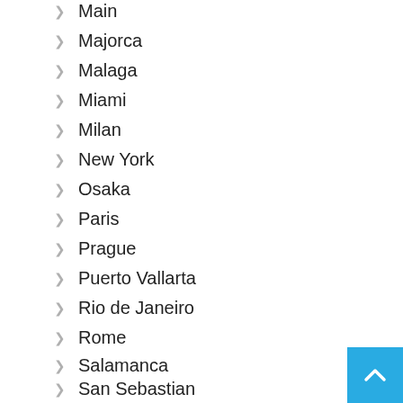Main
Majorca
Malaga
Miami
Milan
New York
Osaka
Paris
Prague
Puerto Vallarta
Rio de Janeiro
Rome
Salamanca
San Sebastian
Seville